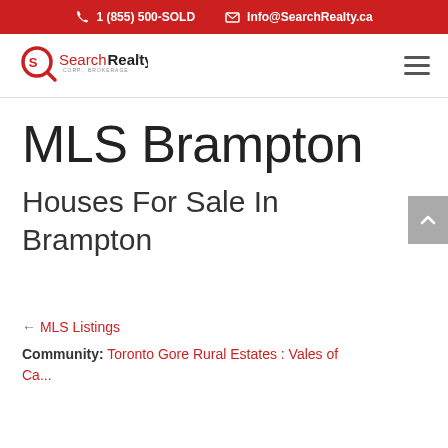1 (855) 500-SOLD  Info@SearchRealty.ca
[Figure (logo): SearchRealty Corp., Brokerage logo — red circular magnifying glass icon with Search in red and Realty in black bold text, Corp., Brokerage in small grey below]
MLS Brampton
Houses For Sale In Brampton
← MLS Listings
Community: Toronto Gore Rural Estates : Vales of Castlemore, North Vales of Castlemore, Hea...